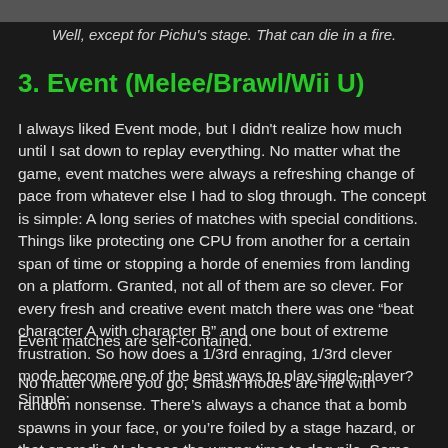Well, except for Pichu's stage. That can die in a fire.
3. Event (Melee/Brawl/Wii U)
I always liked Event mode, but I didn't realize how much until I sat down to replay everything. No matter what the game, event matches were always a refreshing change of pace from whatever else I had to slog through. The concept is simple: A long series of matches with special conditions. Things like protecting one CPU from another for a certain span of time or stopping a horde of enemies from landing on a platform. Granted, not all of them are so clever. For every fresh and creative event match there was one “beat character A with character B” and one bout of extreme frustration. So how does a 1/3rd enraging, 1/3rd clever mode become one of the best ways to play single-player? Simple:
Event matches are self-contained.
No matter where you go, Smash modes are rife with random nonsense. There’s always a chance that a bomb spawns in your face, or you’re foiled by a stage hazard, or that sporadic AI choose the wrong time to dog pile. Some modes mitigate it more than others, but none are completely free of it*. You